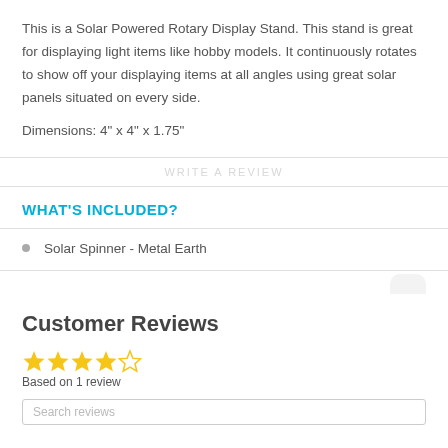This is a Solar Powered Rotary Display Stand. This stand is great for displaying light items like hobby models. It continuously rotates to show off your displaying items at all angles using great solar panels situated on every side.
Dimensions: 4" x 4" x 1.75"
WHAT'S INCLUDED?
Solar Spinner - Metal Earth
Customer Reviews
Based on 1 review